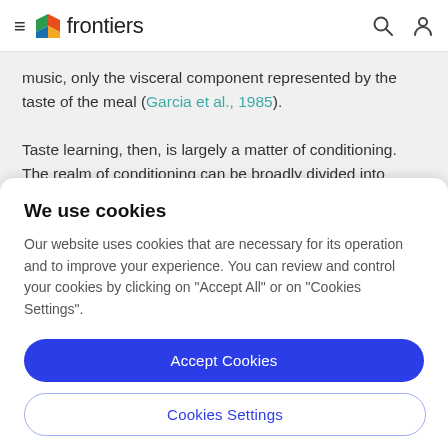frontiers
music, only the visceral component represented by the taste of the meal (Garcia et al., 1985).
Taste learning, then, is largely a matter of conditioning. The realm of conditioning can be broadly divided into
We use cookies
Our website uses cookies that are necessary for its operation and to improve your experience. You can review and control your cookies by clicking on "Accept All" or on "Cookies Settings".
Accept Cookies
Cookies Settings